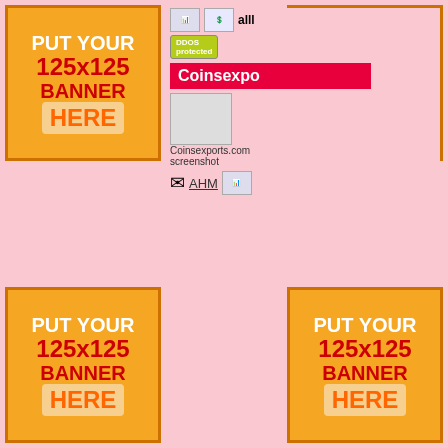[Figure (infographic): Banner ad top-left: PUT YOUR 125x125 BANNER HERE]
[Figure (infographic): Banner ad top-right: PUT YOUR 125x125 BANNER HERE]
[Figure (screenshot): Coinsexports.com site listing with icons, DDOS badge, title bar, screenshot, AHM link, Fixed 620% rate details]
[Figure (infographic): kostasinv.com site listing with icons, DDOS badge, title bar, screenshot, AHM link]
[Figure (infographic): Banner ad bottom-left: PUT YOUR 125x125 BANNER HERE]
[Figure (infographic): Banner ad bottom-right: PUT YOUR 125x125 BANNER HERE]